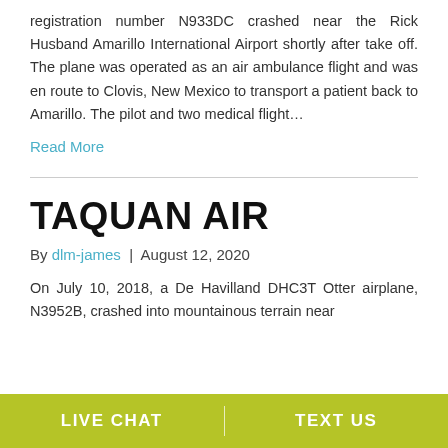registration number N933DC crashed near the Rick Husband Amarillo International Airport shortly after take off. The plane was operated as an air ambulance flight and was en route to Clovis, New Mexico to transport a patient back to Amarillo. The pilot and two medical flight…
Read More
TAQUAN AIR
By dlm-james | August 12, 2020
On July 10, 2018, a De Havilland DHC3T Otter airplane, N3952B, crashed into mountainous terrain near
LIVE CHAT   TEXT US